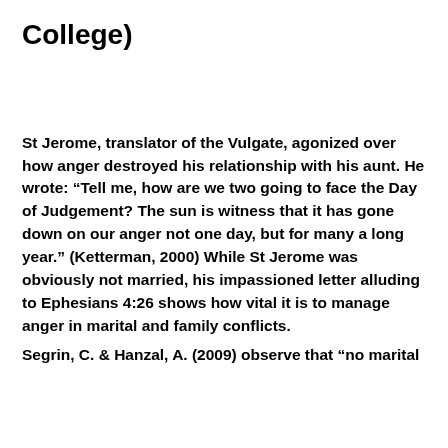College)
St Jerome, translator of the Vulgate, agonized over how anger destroyed his relationship with his aunt. He wrote: “Tell me, how are we two going to face the Day of Judgement? The sun is witness that it has gone down on our anger not one day, but for many a long year.” (Ketterman, 2000) While St Jerome was obviously not married, his impassioned letter alluding to Ephesians 4:26 shows how vital it is to manage anger in marital and family conflicts.
Segrin, C. & Hanzal, A. (2009) observe that “no marital